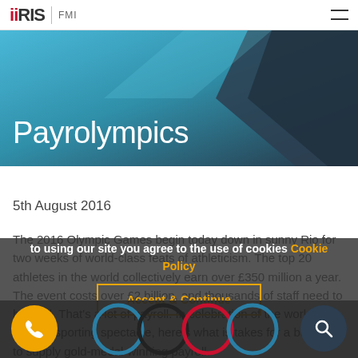IRIS | FMI
Payrolympics
5th August 2016
The 2016 Olympic Games begin today down in sunny Rio for two weeks of world-class feats of athleticism. The top 20 athletes in the world collectively earn over £350 million a year. The event costs over £2 billion, and thousands of staff need to be paid. That's a lot of payroll. In celebration of the world's biggest sporting spectacle, here's what is takes for a business to supply gold-medal-winning payroll.
We use cookies to make your experience better. By continuing to using our site you agree to the use of cookies Cookie Policy
Accept & Continue